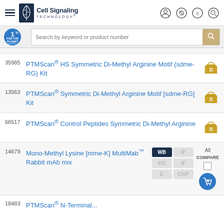Cell Signaling Technology
Search by keyword or product number
35985 — PTMScan® HS Symmetric Di-Methyl Arginine Motif (sdme-RG) Kit
13563 — PTMScan® Symmetric Di-Methyl Arginine Motif [sdme-RG] Kit
68517 — PTMScan® Control Peptides Symmetric Di-Methyl Arginine
14679 — Mono-Methyl Lysine [mme-K] MultiMab™ Rabbit mAb mix | Applications: WB, IP, IHC, IF, E, ChIP | All | COMPARE
18483 — PTMScan® N-Terminal...